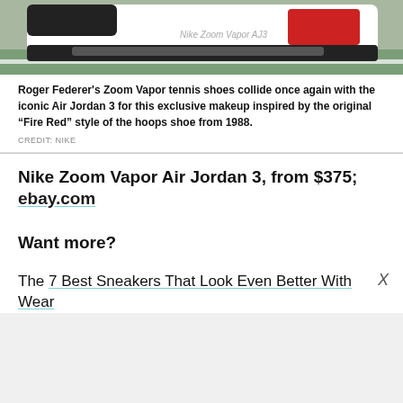[Figure (photo): Bottom portion of a white Nike Zoom Vapor Air Jordan 3 tennis shoe with red and black accents, shown on a green court surface]
Roger Federer's Zoom Vapor tennis shoes collide once again with the iconic Air Jordan 3 for this exclusive makeup inspired by the original “Fire Red” style of the hoops shoe from 1988.
CREDIT: NIKE
Nike Zoom Vapor Air Jordan 3, from $375; ebay.com
Want more?
The 7 Best Sneakers That Look Even Better With Wear